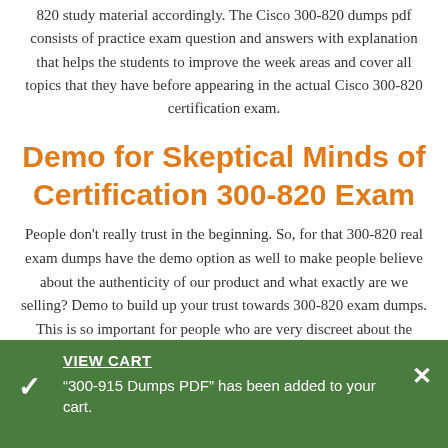820 study material accordingly. The Cisco 300-820 dumps pdf consists of practice exam question and answers with explanation that helps the students to improve the week areas and cover all topics that they have before appearing in the actual Cisco 300-820 certification exam.
Demo for Skeptical Minds of Certification 300-820 Exam
People don't really trust in the beginning. So, for that 300-820 real exam dumps have the demo option as well to make people believe about the authenticity of our product and what exactly are we selling? Demo to build up your trust towards 300-820 exam dumps. This is so important for people who are very discreet about the choices they make related to the preparation of certification exam.
VIEW CART "300-915 Dumps PDF" has been added to your cart.